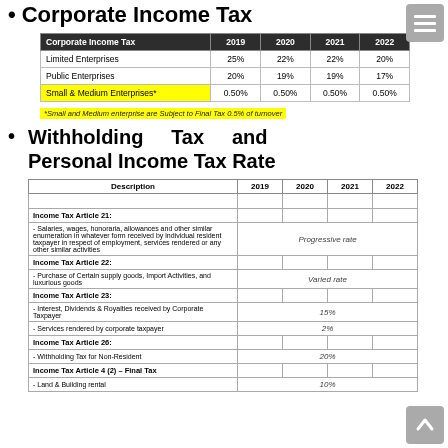Corporate Income Tax
| Corporate Income Tax | 2019 | 2020 | 2021 | 2022 |
| --- | --- | --- | --- | --- |
| Limited Enterprises | 25% | 22% | 22% | 20% |
| Public Enterprises | 20% | 19% | 19% | 17% |
| Small & Medium Enterprises* | 0.50% | 0.50% | 0.50% | 0.50% |
*Small and Medium enterprise are Subject to Final Tax 0.5% of turnover
Withholding Tax and Personal Income Tax Rate
| Description | 2019 | 2020 | 2021 | 2022 |
| --- | --- | --- | --- | --- |
|  |  |  |  |  |
| Income Tax Article 21: |  |  |  |  |
| - Salaries, wages, honoraria, allowances and other similar enumeration in whatever form received by individual resident taxpayer in respect of employment, services rendered or any other similar activities | Progressive rate |  |  |  |
| Income Tax Article 22: |  |  |  |  |
| - Purchase of Certain supply goods, Import Activities, and luxurious goods | Varied rate |  |  |  |
| Income Tax Article 23: |  |  |  |  |
| - Interest, Dividends & Royalties received by Corporate Taxpayer | 15% |  |  |  |
| - Services rendered by corporate taxpayer | 2% |  |  |  |
| Income Tax Article 26: |  |  |  |  |
| - Withholding Tax for Non-Resident | 20% |  |  |  |
| Income Tax Article 4 (2) – Final Tax |  |  |  |  |
| - Land & Building rental | 10% |  |  |  |